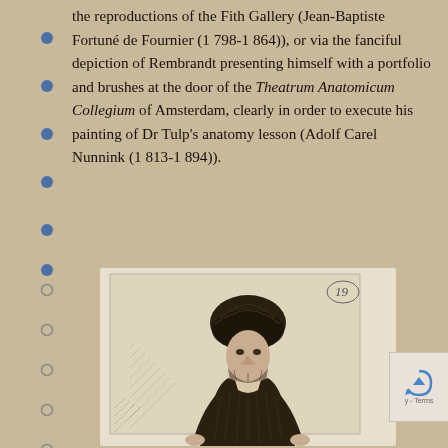the reproductions of the Fith Gallery (Jean-Baptiste Fortuné de Fournier (1798-1864)), or via the fanciful depiction of Rembrandt presenting himself with a portfolio and brushes at the door of the Theatrum Anatomicum Collegium of Amsterdam, clearly in order to execute his painting of Dr Tulp's anatomy lesson (Adolf Carel Nunnink (1813-1894)).
[Figure (photo): Black and white etching/print of a bearded elderly man wearing a large fur hat and heavy coat, leaning forward slightly, in the style of Rembrandt]